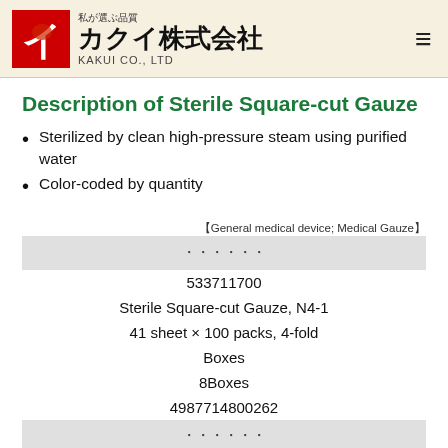私が選ぶ品質 カクイ株式会社 KAKUI CO., LTD
Description of Sterile Square-cut Gauze
Sterilized by clean high-pressure steam using purified water
Color-coded by quantity
【General medical device; Medical Gauze】
| （Japanese text） |
| --- |
| 533711700 |
| Sterile Square-cut Gauze, N4-1 |
| 41 sheet × 100 packs, 4-fold |
| Boxes |
| 8Boxes |
| 4987714800262 |
| （Japanese text） |